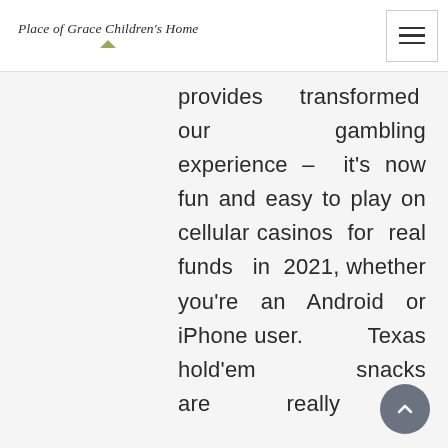Place of Grace Children's Home
provides transformed our gambling experience – it's now fun and easy to play on cellular casinos for real funds in 2021, whether you're an Android or iPhone user. Texas hold'em snacks are really